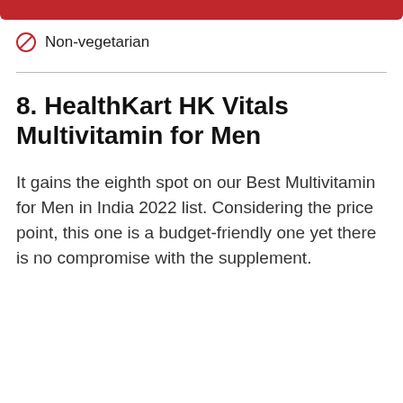[Figure (other): Red decorative bar at top of page]
Non-vegetarian
8. HealthKart HK Vitals Multivitamin for Men
It gains the eighth spot on our Best Multivitamin for Men in India 2022 list. Considering the price point, this one is a budget-friendly one yet there is no compromise with the supplement.